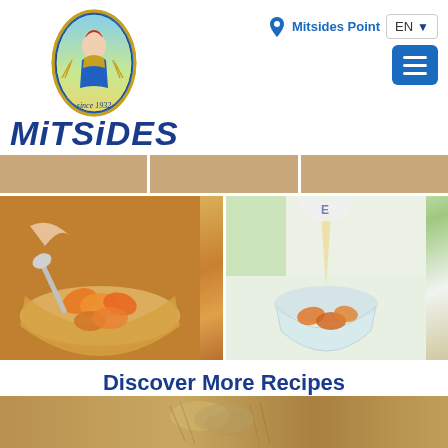[Figure (logo): Mitsides brand logo with oval portrait of a woman in traditional dress, wheat field background, 'since 1932' text, and bold italic MITSIDES wordmark in dark blue]
[Figure (screenshot): Navigation bar with location pin icon, 'Mitsides Point' text in blue, EN language selector dropdown, and blue hamburger menu button]
[Figure (photo): Three-panel image strip showing food photography partially cropped at top]
[Figure (photo): Two-panel image grid: left panel shows a glass bowl with sliced fruit (peaches/apricots) being served with a spoon; right panel shows hands pouring liquid into a glass bowl with fruit slices]
Discover More Recipes
[Figure (photo): Bottom partial image of a golden/wheat-colored textured surface with some food items]